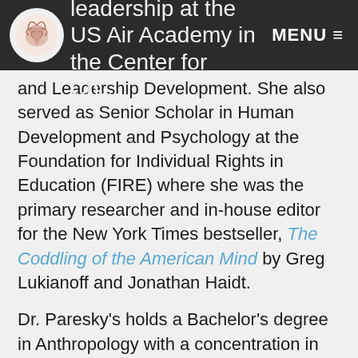Dr. Paresky taught leadership at the US Air Force Academy in the Center for Character and Leadership Development. MENU
and Leadership Development. She also served as Senior Scholar in Human Development and Psychology at the Foundation for Individual Rights in Education (FIRE) where she was the primary researcher and in-house editor for the New York Times bestseller, The Coddling of the American Mind by Greg Lukianoff and Jonathan Haidt.
Dr. Paresky's holds a Bachelor's degree in Anthropology with a concentration in Culture and Native American Studies, a Master's degree in Clinical Psychology, and an interdisciplinary PhD in Psychology and